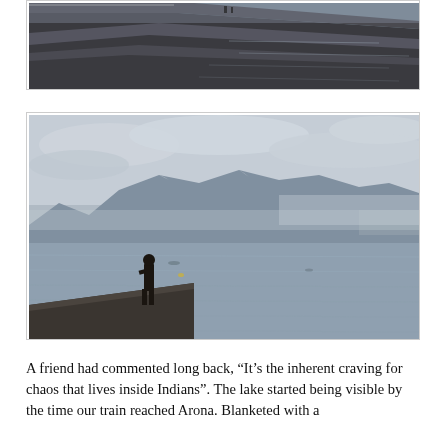[Figure (photo): Top photo showing a stone lakeside promenade or pier with a railing on the left side, people visible in the distance, and still dark water on the right. Overcast sky.]
[Figure (photo): Bottom photo showing a person standing on a stone pier or jetty, looking out over a large lake toward mountains in the background partially obscured by clouds. Overcast sky.]
A friend had commented long back, “It’s the inherent craving for chaos that lives inside Indians”. The lake started being visible by the time our train reached Arona. Blanketed with a